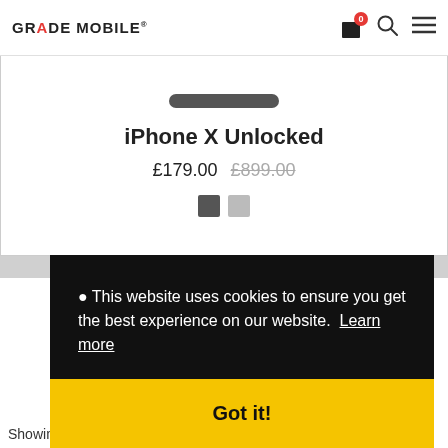GRADE MOBILE® [cart icon with badge 0] [search icon] [menu icon]
[Figure (screenshot): Product listing card showing iPhone X Unlocked with price £179.00 (sale) and £899.00 (original, strikethrough), plus two color swatches (dark grey and light grey)]
iPhone X Unlocked
£179.00  £899.00
[Figure (screenshot): Cookie consent banner on black background reading: 🔴 This website uses cookies to ensure you get the best experience on our website. Learn more — with a yellow 'Got it!' button below]
● This website uses cookies to ensure you get the best experience on our website.  Learn more
Got it!
Showing